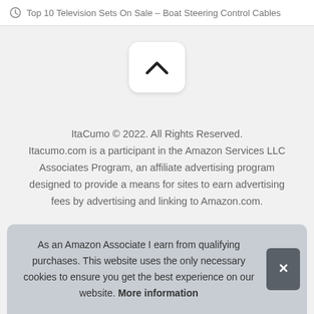Top 10 Television Sets On Sale – Boat Steering Control Cables
[Figure (other): Scroll-to-top button with upward chevron arrow on white rounded rectangle background]
ItaCumo © 2022. All Rights Reserved. Itacumo.com is a participant in the Amazon Services LLC Associates Program, an affiliate advertising program designed to provide a means for sites to earn advertising fees by advertising and linking to Amazon.com.
As an Amazon Associate I earn from qualifying purchases. This website uses the only necessary cookies to ensure you get the best experience on our website. More information